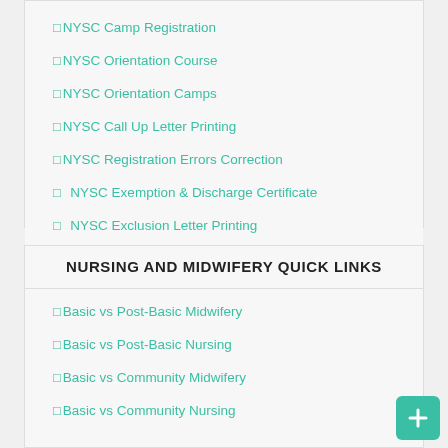□NYSC Camp Registration
□NYSC Orientation Course
□NYSC Orientation Camps
□NYSC Call Up Letter Printing
□NYSC Registration Errors Correction
□  NYSC Exemption & Discharge Certificate
□  NYSC Exclusion Letter Printing
NURSING AND MIDWIFERY QUICK LINKS
□Basic vs Post-Basic Midwifery
□Basic vs Post-Basic Nursing
□Basic vs Community Midwifery
□Basic vs Community Nursing